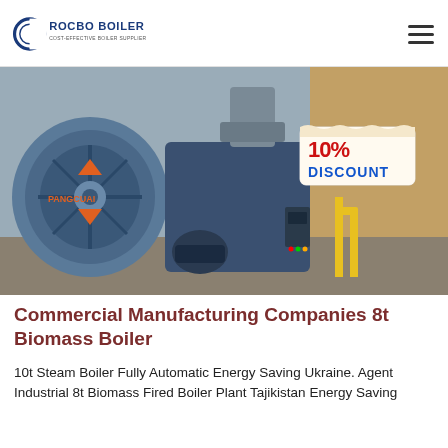ROCBO BOILER — COST-EFFECTIVE BOILER SUPPLIER
[Figure (photo): Industrial biomass boiler equipment in a factory/warehouse setting. A large blue centrifugal fan/blower on the left, connected to a blue boiler unit with control panel and burner components. Yellow gas pipes visible on the right. A '10% DISCOUNT' badge overlaid in the top-right of the image.]
Commercial Manufacturing Companies 8t Biomass Boiler
10t Steam Boiler Fully Automatic Energy Saving Ukraine. Agent Industrial 8t Biomass Fired Boiler Plant Tajikistan Energy Saving